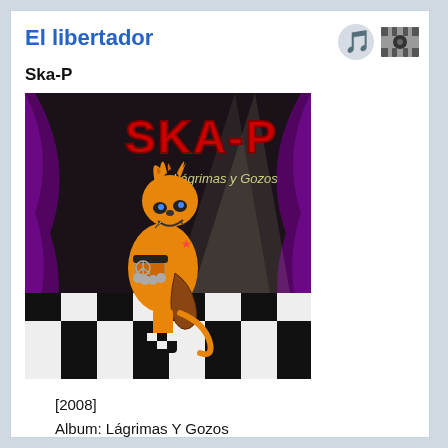El libertador
Ska-P
[Figure (illustration): Album cover for SKA-P 'Lágrimas y Gozos' featuring a cartoon punk cat character on a checkerboard floor with purple stage curtains background. Red bold text reads SKA-P at top with 'Lágrimas y Gozos' subtitle. A spotlight illuminates the scene.]
[2008]
Album: Lágrimas Y Gozos